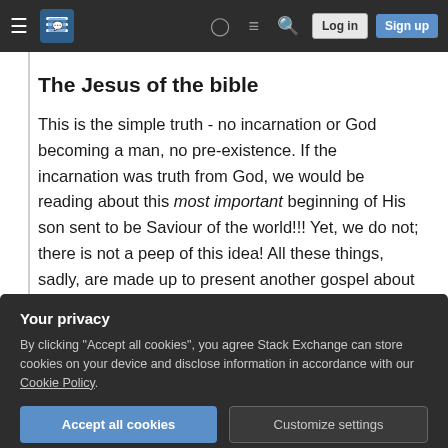Stack Exchange navigation bar with hamburger menu, logo, help, discussions, search, Log in, Sign up
The Jesus of the bible
This is the simple truth - no incarnation or God becoming a man, no pre-existence. If the incarnation was truth from God, we would be reading about this most important beginning of His son sent to be Saviour of the world!!! Yet, we do not; there is not a peep of this idea! All these things, sadly, are made up to present another gospel about another Jesus who is not described in the bible at all -
Your privacy
By clicking "Accept all cookies", you agree Stack Exchange can store cookies on your device and disclose information in accordance with our Cookie Policy.
Accept all cookies   Customize settings
if it was God then who sent to God? Is God, God sent...